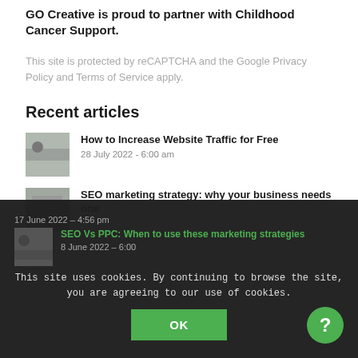GO Creative is proud to partner with Childhood Cancer Support.
This site is protected by reCAPTCHA and the Google Privacy Policy and Terms of Service apply.
Recent articles
How to Increase Website Traffic for Free
28 July 2022 - 6:00 am
SEO marketing strategy: why your business needs one
17 June 2022 – 4:56 pm
SEO Vs PPC: When to use these marketing strategies
8 June 2022 – 6:00
This site uses cookies. By continuing to browse the site, you are agreeing to our use of cookies.